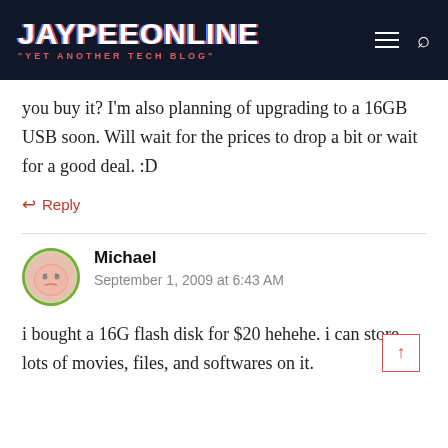JAYPEEONLINE "YET ANOTHER TECH BLOG"
you buy it? I'm also planning of upgrading to a 16GB USB soon. Will wait for the prices to drop a bit or wait for a good deal. :D
↩ Reply
Michael
September 1, 2009 at 6:43 AM
i bought a 16G flash disk for $20 hehehe. i can store lots of movies, files, and softwares on it.